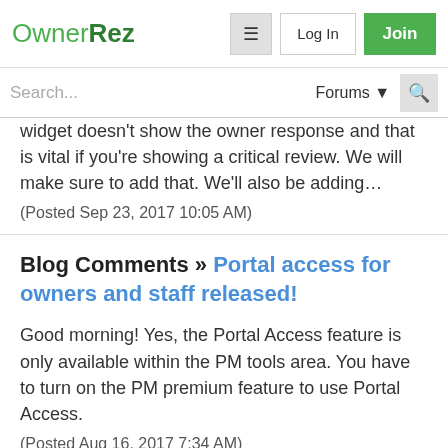OwnerRez | Log In | Join
Search... | Forums
widget doesn't show the owner response and that is vital if you're showing a critical review. We will make sure to add that. We'll also be adding…
(Posted Sep 23, 2017 10:05 AM)
Blog Comments » Portal access for owners and staff released!
Good morning! Yes, the Portal Access feature is only available within the PM tools area. You have to turn on the PM premium feature to use Portal Access.
(Posted Aug 16, 2017 7:34 AM)